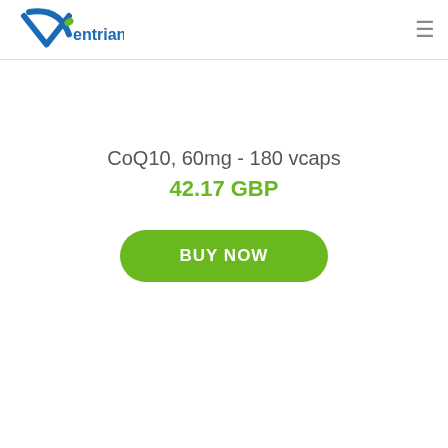Ventrian.com
CoQ10, 60mg - 180 vcaps
42.17 GBP
BUY NOW